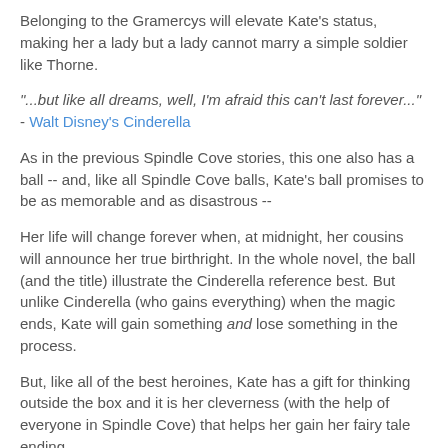Belonging to the Gramercys will elevate Kate's status, making her a lady but a lady cannot marry a simple soldier like Thorne.
"...but like all dreams, well, I'm afraid this can't last forever..." - Walt Disney's Cinderella
As in the previous Spindle Cove stories, this one also has a ball -- and, like all Spindle Cove balls, Kate's ball promises to be as memorable and as disastrous --
Her life will change forever when, at midnight, her cousins will announce her true birthright. In the whole novel, the ball (and the title) illustrate the Cinderella reference best. But unlike Cinderella (who gains everything) when the magic ends, Kate will gain something and lose something in the process.
But, like all of the best heroines, Kate has a gift for thinking outside the box and it is her cleverness (with the help of everyone in Spindle Cove) that helps her gain her fairy tale ending.